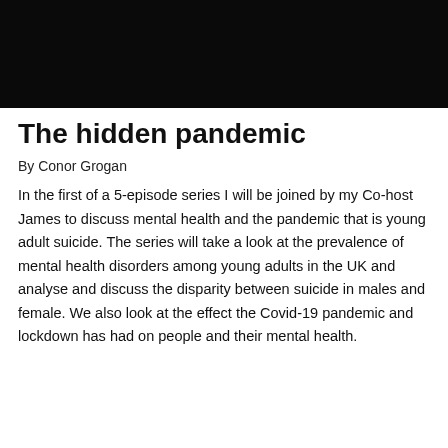[Figure (photo): Dark/black photograph, content largely obscured, appears to be a dimly lit or black image used as a header illustration.]
The hidden pandemic
By Conor Grogan
In the first of a 5-episode series I will be joined by my Co-host James to discuss mental health and the pandemic that is young adult suicide. The series will take a look at the prevalence of mental health disorders among young adults in the UK and analyse and discuss the disparity between suicide in males and female. We also look at the effect the Covid-19 pandemic and lockdown has had on people and their mental health.